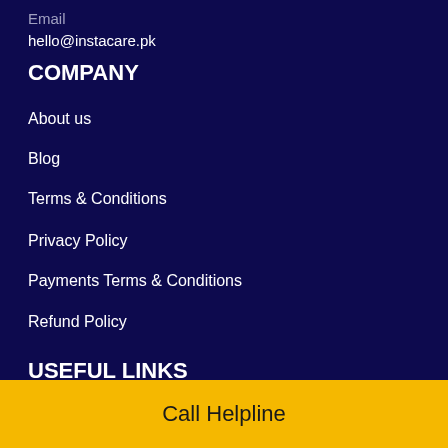Email
hello@instacare.pk
COMPANY
About us
Blog
Terms & Conditions
Privacy Policy
Payments Terms & Conditions
Refund Policy
USEFUL LINKS
Doctors
Call Helpline